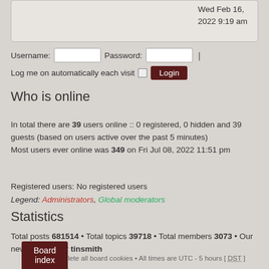Wed Feb 16, 2022 9:19 am
Username:  Password:  |
Log me on automatically each visit  Login
Who is online
In total there are 39 users online :: 0 registered, 0 hidden and 39 guests (based on users active over the past 5 minutes)
Most users ever online was 349 on Fri Jul 08, 2022 11:51 pm
Registered users: No registered users
Legend: Administrators, Global moderators
Statistics
Total posts 681514 • Total topics 39718 • Total members 3073 • Our newest member tinsmith
The team • Delete all board cookies • All times are UTC - 5 hours [ DST ]
Board index